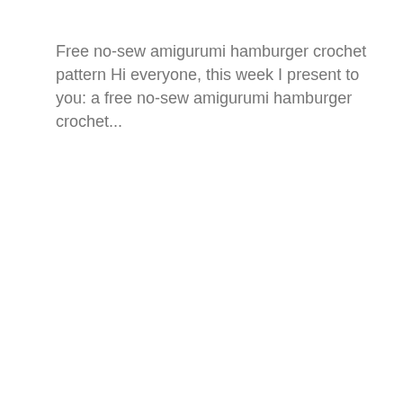Free no-sew amigurumi hamburger crochet pattern Hi everyone, this week I present to you: a free no-sew amigurumi hamburger crochet...